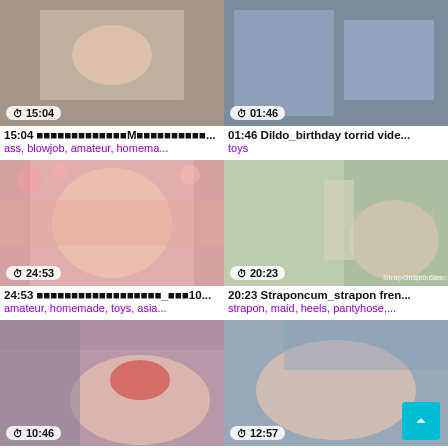[Figure (screenshot): Video thumbnail grid showing adult video content with timestamps, titles and tags]
15:04 [Japanese characters]M[Japanese characters]...
ass, blowjob, amateur, homema...
01:46 Dildo_birthday torrid vide...
toys
24:53 [Japanese characters]_[Japanese characters]10...
amateur, homemade, toys, asia...
20:23 Straponcum_strapon fren...
strapon, maid, heels, pantyhose,...
10:46 [Japanese characters]10[Japanese characters]10[Japanese characters]...
amateur, homemade, toys, asia...
12:57 [Japanese characters]!?[Japanese characters]...
amateur, homemade, toys,